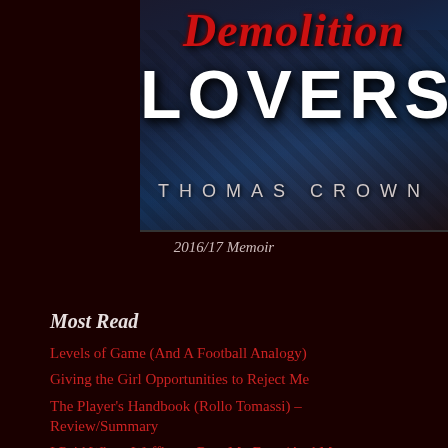[Figure (illustration): Book cover for 'Demolition Lovers' by Thomas Crown. Dark moody cover with smoky blue-dark background, red italic script title 'Demolition' at top, large white bold 'LOVERS' text, author name 'THOMAS CROWN' at bottom in spaced caps.]
2016/17 Memoir
Most Read
Levels of Game (And A Football Analogy)
Giving the Girl Opportunities to Reject Me
The Player's Handbook (Rollo Tomassi) – Review/Summary
I Paid Wheat Waffles to Rate My Face (And Mo...